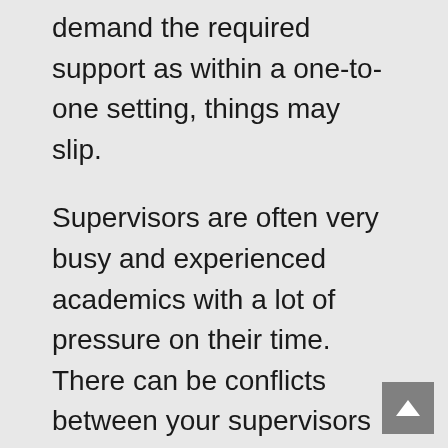demand the required support as within a one-to-one setting, things may slip.
Supervisors are often very busy and experienced academics with a lot of pressure on their time. There can be conflicts between your supervisors or scholarly or practical issues as there can be conflicts between students and the supervisor(s). In such situations, it is important to stay calm and impartial and seek advice from the administrative bodies and committees in place. Again stay focus on your course to a successful PhD.